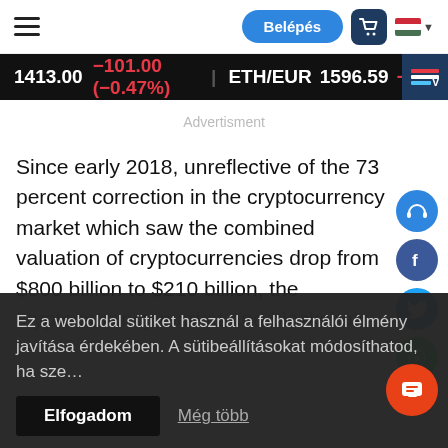Belépés [navigation bar with login, cart, and Hungarian flag]
1413.00 −101.00 (−0.47%) | ETH/EUR 1596.59 −16.
Advertisment
Since early 2018, unreflective of the 73 percent correction in the cryptocurrency market which saw the combined valuation of cryptocurrencies drop from $800 billion to $210 billion, the cryptocurrency market and blockchain sector hav…
Ez a weboldal sütiket használ a felhasználói élmény javítása érdekében. A sütibeállításokat módosíthatod, ha sze…
Elfogadom   Még több